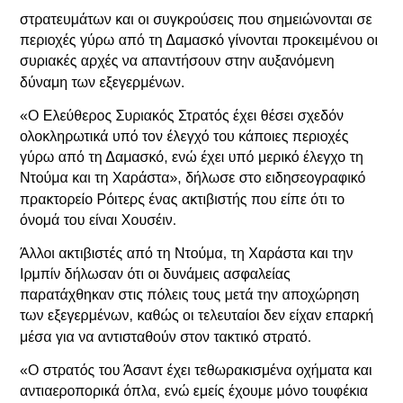στρατευμάτων και οι συγκρούσεις που σημειώνονται σε περιοχές γύρω από τη Δαμασκό γίνονται προκειμένου οι συριακές αρχές να απαντήσουν στην αυξανόμενη δύναμη των εξεγερμένων.
«Ο Ελεύθερος Συριακός Στρατός έχει θέσει σχεδόν ολοκληρωτικά υπό τον έλεγχό του κάποιες περιοχές γύρω από τη Δαμασκό, ενώ έχει υπό μερικό έλεγχο τη Ντούμα και τη Χαράστα», δήλωσε στο ειδησεογραφικό πρακτορείο Ρόιτερς ένας ακτιβιστής που είπε ότι το όνομά του είναι Χουσέιν.
Άλλοι ακτιβιστές από τη Ντούμα, τη Χαράστα και την Ιρμπίν δήλωσαν ότι οι δυνάμεις ασφαλείας παρατάχθηκαν στις πόλεις τους μετά την αποχώρηση των εξεγερμένων, καθώς οι τελευταίοι δεν είχαν επαρκή μέσα για να αντισταθούν στον τακτικό στρατό.
«Ο στρατός του Άσαντ έχει τεθωρακισμένα οχήματα και αντιαεροπορικά όπλα, ενώ εμείς έχουμε μόνο τουφέκια και αντιαρματικά», δήλωσε ένας μαχητής του Ελεύθερου Συριακού Στρατού.